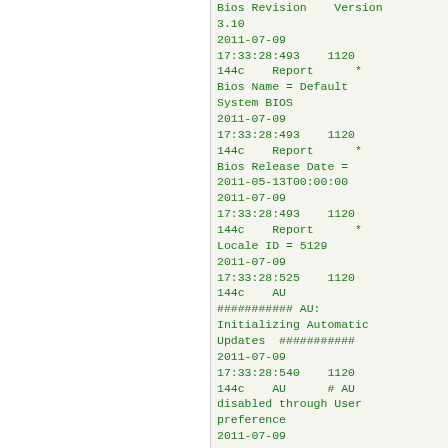Bios Revision    Version 3.10
2011-07-09
17:33:28:493    1120 144c    Report      *
Bios Name = Default System BIOS
2011-07-09
17:33:28:493    1120 144c    Report      *
Bios Release Date = 2011-05-13T00:00:00
2011-07-09
17:33:28:493    1120 144c    Report      *
Locale ID = 5129
2011-07-09
17:33:28:525    1120 144c    AU
########### AU: Initializing Automatic Updates  ###########
2011-07-09
17:33:28:540    1120 144c    AU      # AU disabled through User preference
2011-07-09
17:33:28:540    1120 144c    AU
Initializing featured updates
2011-07-09
17:33:28:540    1120
144c    AU      Foun...